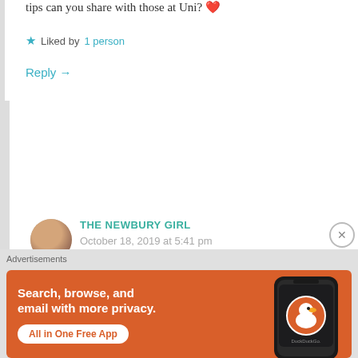tips can you share with those at Uni? ❤
★ Liked by 1 person
Reply →
THE NEWBURY GIRL
October 18, 2019 at 5:41 pm
I think I'd just mention to have fun – sometimes there can be so much pressure to have to achieve the best grades and get the best internships that
Advertisements
[Figure (screenshot): DuckDuckGo advertisement banner with orange background showing 'Search, browse, and email with more privacy. All in One Free App' text alongside a phone mockup showing DuckDuckGo logo.]